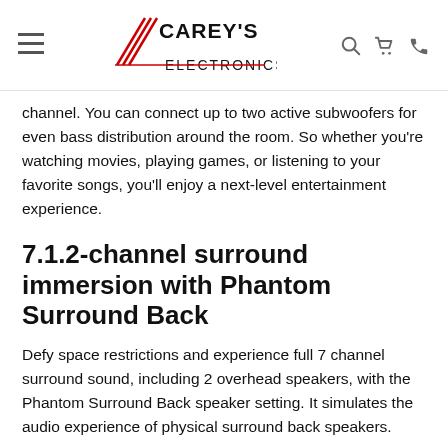Carey's Electronics
channel. You can connect up to two active subwoofers for even bass distribution around the room. So whether you're watching movies, playing games, or listening to your favorite songs, you'll enjoy a next-level entertainment experience.
7.1.2-channel surround immersion with Phantom Surround Back
Defy space restrictions and experience full 7 channel surround sound, including 2 overhead speakers, with the Phantom Surround Back speaker setting. It simulates the audio experience of physical surround back speakers.
Dolby Atmos®